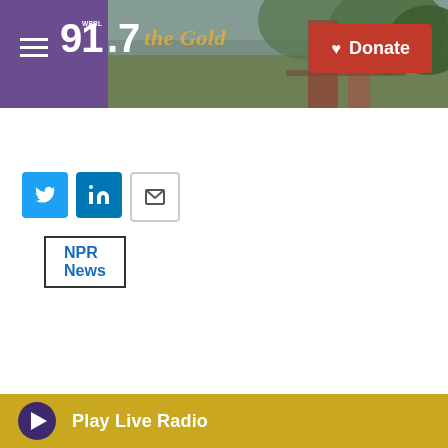WPRL 91.7 The Gold — Donate
NPR News
[Figure (infographic): Social sharing buttons: Twitter (blue), LinkedIn (blue), Email (outlined)]
The Associated Press
Top Stories
Play Live Radio